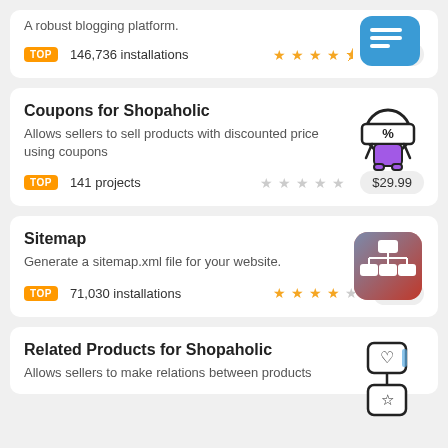A robust blogging platform.
TOP  146,736 installations  ★★★★½  Free
Coupons for Shopaholic
Allows sellers to sell products with discounted price using coupons
TOP  141 projects  ☆☆☆☆☆  $29.99
Sitemap
Generate a sitemap.xml file for your website.
TOP  71,030 installations  ★★★★☆  Free
Related Products for Shopaholic
Allows sellers to make relations between products